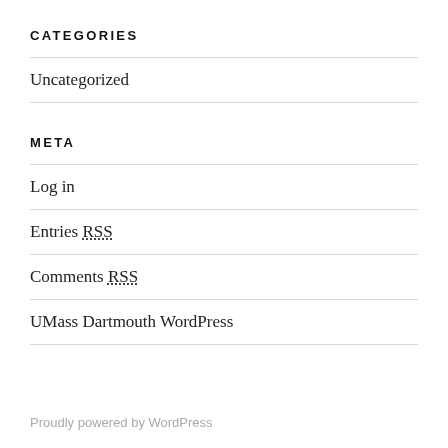CATEGORIES
Uncategorized
META
Log in
Entries RSS
Comments RSS
UMass Dartmouth WordPress
Proudly powered by WordPress